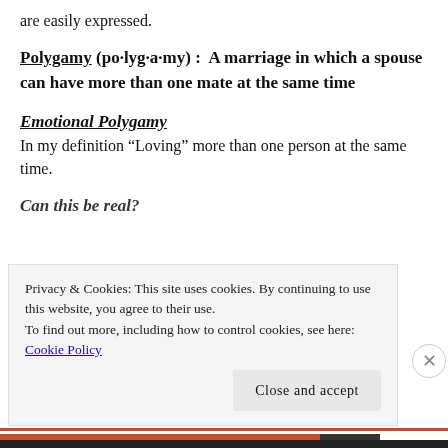are easily expressed.
Polygamy (po·lyg·a·my): A marriage in which a spouse can have more than one mate at the same time
Emotional Polygamy
In my definition “Loving” more than one person at the same time.
Can this be real?
Privacy & Cookies: This site uses cookies. By continuing to use this website, you agree to their use.
To find out more, including how to control cookies, see here:
Cookie Policy
Close and accept